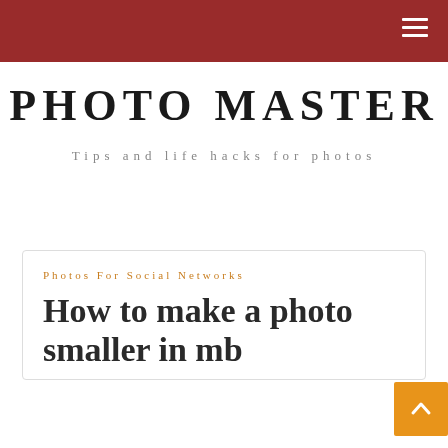PHOTO MASTER — Tips and life hacks for photos
PHOTO MASTER
Tips and life hacks for photos
Photos For Social Networks
How to make a photo smaller in mb